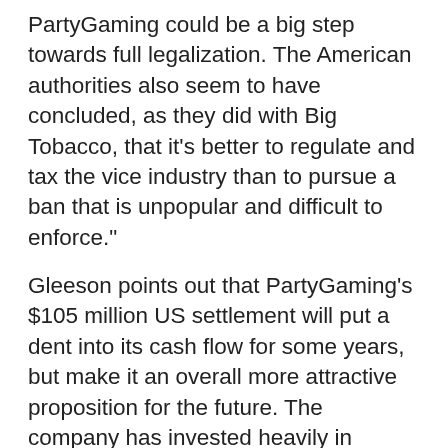PartyGaming could be a big step towards full legalization. The American authorities also seem to have concluded, as they did with Big Tobacco, that it's better to regulate and tax the vice industry than to pursue a ban that is unpopular and difficult to enforce."
Gleeson points out that PartyGaming's $105 million US settlement will put a dent into its cash flow for some years, but make it an overall more attractive proposition for the future. The company has invested heavily in advertising to keep and acquire customers, but it has become apparent that online gambling firms will need to scale up to reduce costs if they are going to survive.
Pulling off a big acquisition will be tough in a market where credit is hard to come by, Gleeson opines before identifying Playtech as probably the best stock in the Internet gambling sector.